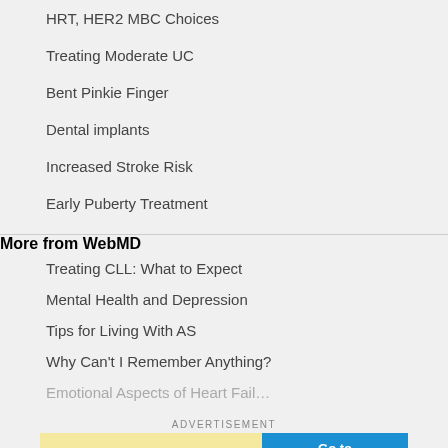HRT, HER2 MBC Choices
Treating Moderate UC
Bent Pinkie Finger
Dental implants
Increased Stroke Risk
Early Puberty Treatment
More from WebMD
Treating CLL: What to Expect
Mental Health and Depression
Tips for Living With AS
Why Can't I Remember Anything?
Emotional Aspects of Heart Failure
ADVERTISEMENT
[Figure (infographic): Advertisement banner: 'Get more personal stories and expert insights.' with a blue button 'Go to WebMD Blogs' with right arrow]